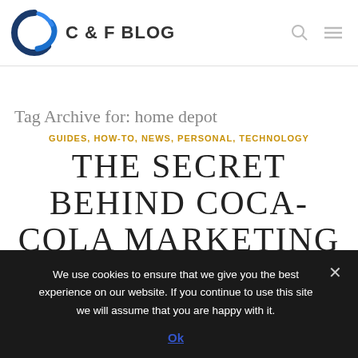C & F BLOG
Tag Archive for: home depot
GUIDES, HOW-TO, NEWS, PERSONAL, TECHNOLOGY
THE SECRET BEHIND COCA-COLA MARKETING STRATEGY
We use cookies to ensure that we give you the best experience on our website. If you continue to use this site we will assume that you are happy with it.
Ok